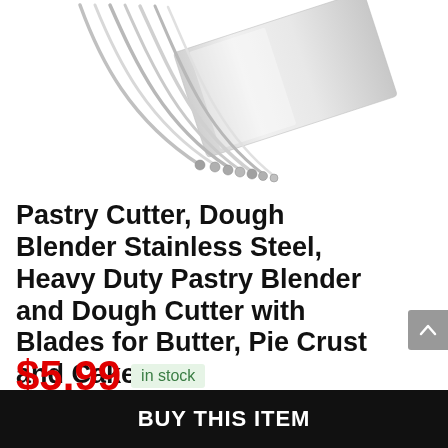[Figure (photo): A stainless steel pastry cutter / dough blender with curved metal blades and a flat blade, photographed on white background, viewed from partial angle showing the curved wire blades and flat scraper.]
Pastry Cutter, Dough Blender Stainless Steel, Heavy Duty Pastry Blender and Dough Cutter with Blades for Butter, Pie Crust and Cake
$5.99
in stock
BUY THIS ITEM